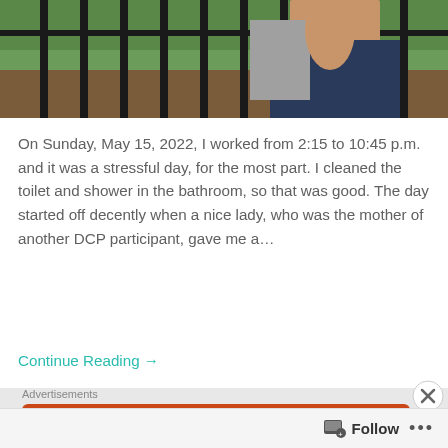[Figure (photo): Person near an iron fence outdoors, wearing a dark t-shirt and gray bag, with green trees/mulch visible in background]
On Sunday, May 15, 2022, I worked from 2:15 to 10:45 p.m. and it was a stressful day, for the most part. I cleaned the toilet and shower in the bathroom, so that was good. The day started off decently when a nice lady, who was the mother of another DCP participant, gave me a…
Continue Reading →
Advertisements
[Figure (screenshot): DuckDuckGo advertisement banner on orange/red background with text 'Search, browse, and email with more privacy. All in One Free App' and phone graphic with DuckDuckGo logo]
Follow …